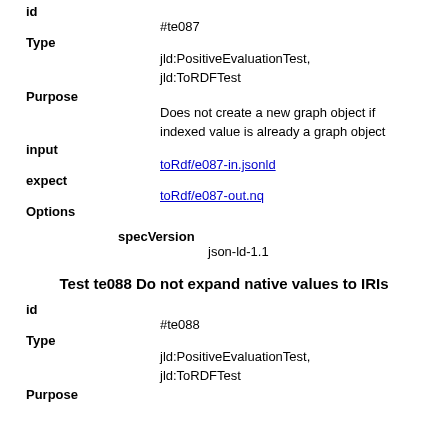id
#te087
Type
jld:PositiveEvaluationTest, jld:ToRDFTest
Purpose
Does not create a new graph object if indexed value is already a graph object
input
toRdf/e087-in.jsonld
expect
toRdf/e087-out.nq
Options
specVersion
json-ld-1.1
Test te088 Do not expand native values to IRIs
id
#te088
Type
jld:PositiveEvaluationTest, jld:ToRDFTest
Purpose